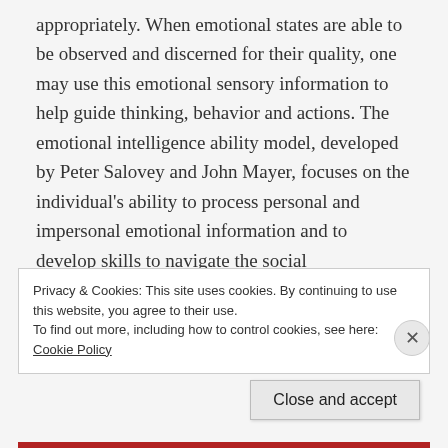appropriately. When emotional states are able to be observed and discerned for their quality, one may use this emotional sensory information to help guide thinking, behavior and actions. The emotional intelligence ability model, developed by Peter Salovey and John Mayer, focuses on the individual's ability to process personal and impersonal emotional information and to develop skills to navigate the social environment.
Privacy & Cookies: This site uses cookies. By continuing to use this website, you agree to their use.
To find out more, including how to control cookies, see here: Cookie Policy
Close and accept